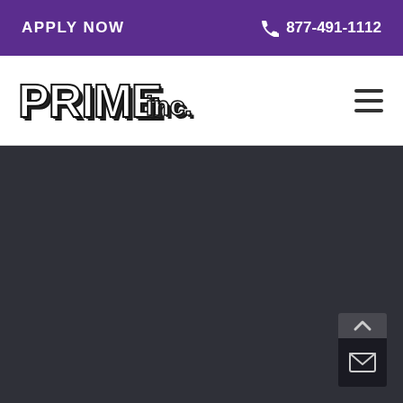APPLY NOW   877-491-1112
[Figure (logo): PRIME inc. company logo in bold black 3D block letters]
[Figure (other): Hamburger menu icon with three horizontal lines]
[Figure (other): Dark grey background content area filling the lower portion of the page]
[Figure (other): Scroll-to-top arrow button and email envelope button floating at bottom right]